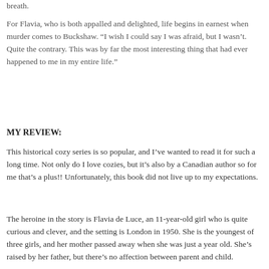breath.
For Flavia, who is both appalled and delighted, life begins in earnest when murder comes to Buckshaw. “I wish I could say I was afraid, but I wasn’t. Quite the contrary. This was by far the most interesting thing that had ever happened to me in my entire life.”
MY REVIEW:
This historical cozy series is so popular, and I’ve wanted to read it for such a long time. Not only do I love cozies, but it’s also by a Canadian author so for me that’s a plus!! Unfortunately, this book did not live up to my expectations.
The heroine in the story is Flavia de Luce, an 11-year-old girl who is quite curious and clever, and the setting is London in 1950. She is the youngest of three girls, and her mother passed away when she was just a year old. She’s raised by her father, but there’s no affection between parent and child.